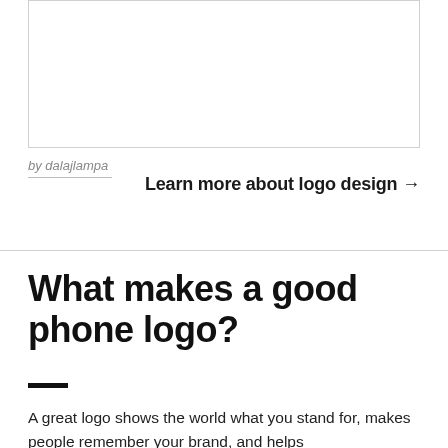[Figure (other): White rectangular image area with border, partially visible logo or design content]
by dalajlampa
Learn more about logo design →
What makes a good phone logo?
A great logo shows the world what you stand for, makes people remember your brand, and helps